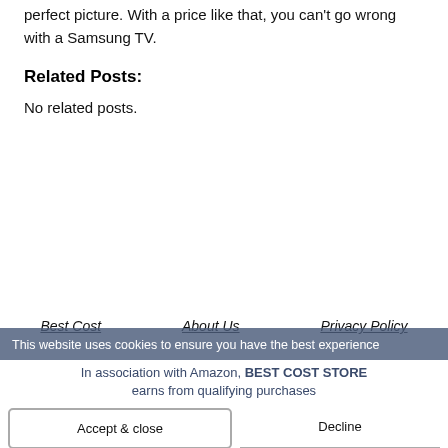perfect picture. With a price like that, you can't go wrong with a Samsung TV.
Related Posts:
No related posts.
Best Cost   About Us   Privacy Policy
This website uses cookies to ensure you have the best experience
In association with Amazon, BEST COST STORE earns from qualifying purchases
Accept & close
Decline